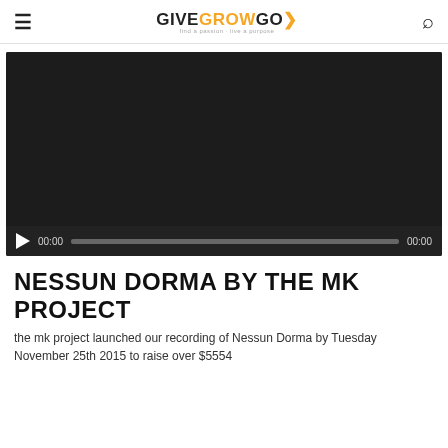GIVEGROWGO
[Figure (screenshot): Video player with dark background showing a media player interface with play button, timeline scrubber, and time codes 00:00 / 00:00]
NESSUN DORMA BY THE MK PROJECT
the mk project launched our recording of Nessun Dorma by Tuesday November 25th 2015 to raise over $5554